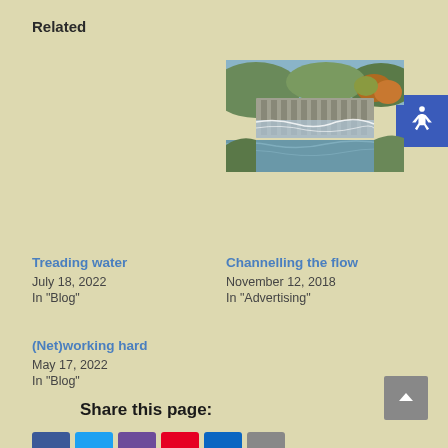Related
[Figure (photo): Photograph of a large stone dam with water flowing over it, surrounded by green hills and autumn-colored trees.]
Treading water
July 18, 2022
In "Blog"
Channelling the flow
November 12, 2018
In "Advertising"
(Net)working hard
May 17, 2022
In "Blog"
Share this page: